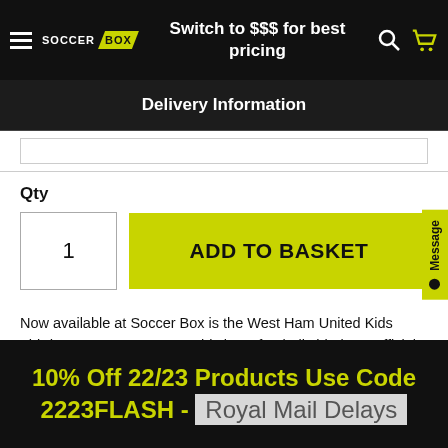Switch to $$$ for best pricing
Delivery Information
Qty
1
ADD TO BASKET
IN STOCK
Now available at Soccer Box is the West Ham United Kids Third Jersey 2015 – 2016. This boys football shirt is an official replica of the soccer jersey the West Ham United 1st team will be seen
10% Off 22/23 Products Use Code 2223FLASH - Royal Mail Delays